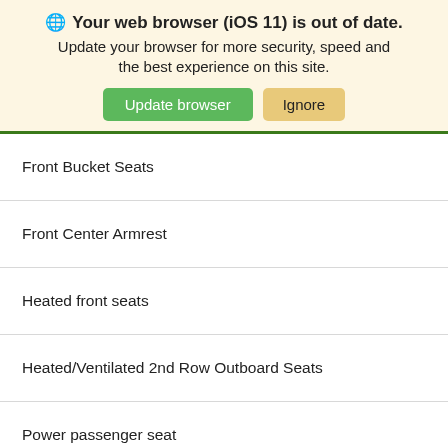[Figure (screenshot): Browser update warning banner with globe icon, bold title 'Your web browser (iOS 11) is out of date.', subtitle text, and two buttons: 'Update browser' (green) and 'Ignore' (tan/gold)]
Front Bucket Seats
Front Center Armrest
Heated front seats
Heated/Ventilated 2nd Row Outboard Seats
Power passenger seat
Split folding rear seat
Cargo Area Cover
Passenger door bin
Alloy wheels